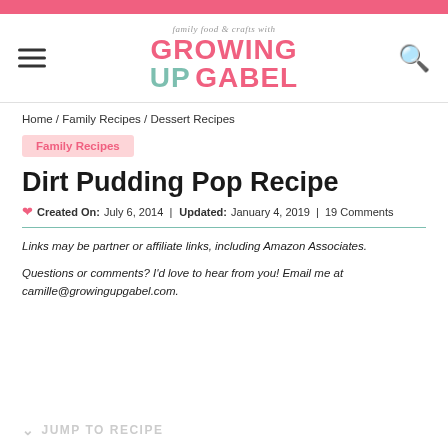family food & crafts with GROWING UP GABEL
Home / Family Recipes / Dessert Recipes
Family Recipes
Dirt Pudding Pop Recipe
Created On: July 6, 2014  |  Updated: January 4, 2019  |  19 Comments
Links may be partner or affiliate links, including Amazon Associates.
Questions or comments? I'd love to hear from you! Email me at camille@growingupgabel.com.
JUMP TO RECIPE